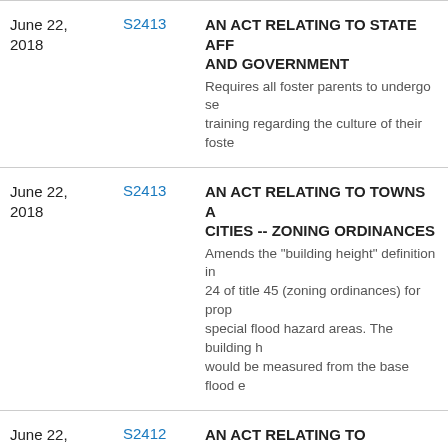| Date | Bill | Title / Description |
| --- | --- | --- |
| June 22, 2018 | S2413 | AN ACT RELATING TO STATE AFFAIRS AND GOVERNMENT
Requires all foster parents to undergo sensitivity training regarding the culture of their foster... |
| June 22, 2018 | S2413 | AN ACT RELATING TO TOWNS AND CITIES -- ZONING ORDINANCES
Amends the "building height" definition in chapter 24 of title 45 (zoning ordinances) for properties in special flood hazard areas. The building height would be measured from the base flood e... |
| June 22, 2018 | S2412 | AN ACT RELATING TO CRIMINAL OFFENSES - WEAPONS
Limits the issuance of pistol and revolver permits to the office of the attorney gene... |
| June 22, 2018 | S2412 | AN ACT RELATING TO TOWNS AND CITIES - ZONING ORDINANCES |